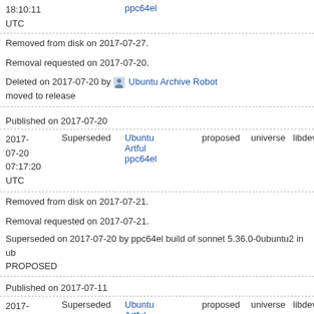18:10:11 UTC  ppc64el
Removed from disk on 2017-07-27.
Removal requested on 2017-07-20.
Deleted on 2017-07-20 by Ubuntu Archive Robot moved to release
Published on 2017-07-20
| 2017-07-20 07:17:20 UTC | Superseded | Ubuntu Artful ppc64el | proposed | universe | libdevel | Optional |
Removed from disk on 2017-07-21.
Removal requested on 2017-07-21.
Superseded on 2017-07-20 by ppc64el build of sonnet 5.36.0-0ubuntu2 in ub PROPOSED
Published on 2017-07-11
| 2017-07-11 23:33:19 UTC | Superseded | Ubuntu Artful ppc64el | proposed | universe | libdevel | Optional |
Removed from disk on 2017-07-13.